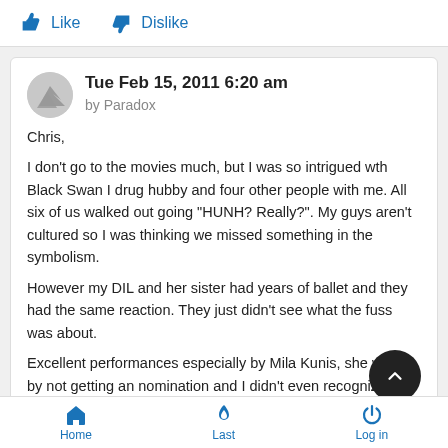Like  Dislike
Tue Feb 15, 2011 6:20 am
by Paradox
Chris,

I don't go to the movies much, but I was so intrigued wth Black Swan I drug hubby and four other people with me. All six of us walked out going "HUNH? Really?". My guys aren't cultured so I was thinking we missed something in the symbolism.

However my DIL and her sister had years of ballet and they had the same reaction. They just didn't see what the fuss was about.

Excellent performances especially by Mila Kunis, she was ro by not getting an nomination and I didn't even recognize Winona
Home  Last  Log in